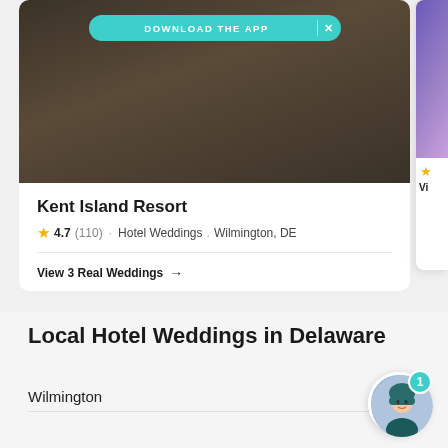[Figure (screenshot): Venue card for Kent Island Resort with a dark wedding photo background and a teal 'DOWNLOAD THE APP' banner overlay]
Kent Island Resort
4.7 (110) · Hotel Weddings . Wilmington, DE
View 3 Real Weddings →
Local Hotel Weddings in Delaware
Wilmington
[Figure (illustration): Chat support avatar with teal notification badge showing '1']